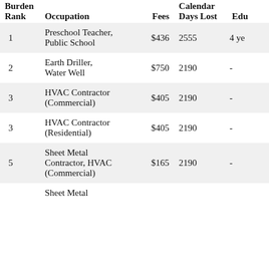| Burden Rank | Occupation | Fees | Calendar Days Lost | Edu |
| --- | --- | --- | --- | --- |
| 1 | Preschool Teacher, Public School | $436 | 2555 | 4 ye |
| 2 | Earth Driller, Water Well | $750 | 2190 | - |
| 3 | HVAC Contractor (Commercial) | $405 | 2190 | - |
| 3 | HVAC Contractor (Residential) | $405 | 2190 | - |
| 5 | Sheet Metal Contractor, HVAC (Commercial) | $165 | 2190 | - |
|  | Sheet Metal |  |  |  |